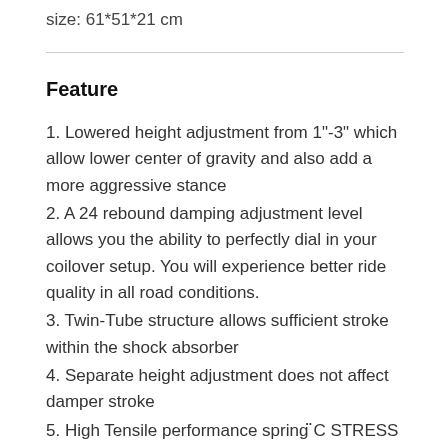size: 61*51*21 cm
Feature
1. Lowered height adjustment from 1"-3" which allow lower center of gravity and also add a more aggressive stance
2. A 24 rebound damping adjustment level allows you the ability to perfectly dial in your coilover setup. You will experience better ride quality in all road conditions.
3. Twin-Tube structure allows sufficient stroke within the shock absorber
4. Separate height adjustment does not affect damper stroke
5. High Tensile performance spring ¨C STRESS TESTED OVER 300,000...